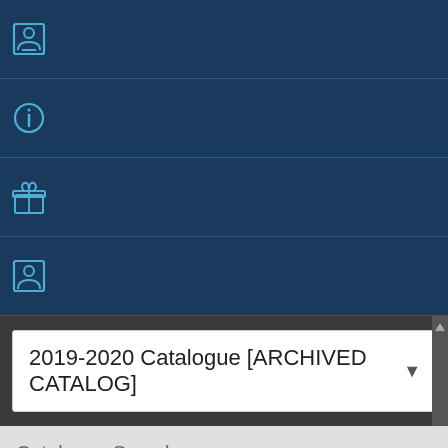[Figure (screenshot): Navigation bar row 1 with person/document icon on dark blue background]
[Figure (screenshot): Navigation bar row 2 with info (i) icon on dark blue background]
[Figure (screenshot): Navigation bar row 3 with gift/package icon on dark blue background]
[Figure (screenshot): Navigation bar row 4 with person/document icon on dark blue background]
2019-2020 Catalogue [ARCHIVED CATALOG]
Catalogue Search
Entire Catalogue
Search Catalogue
Whole Word/Phrase
Advanced Search